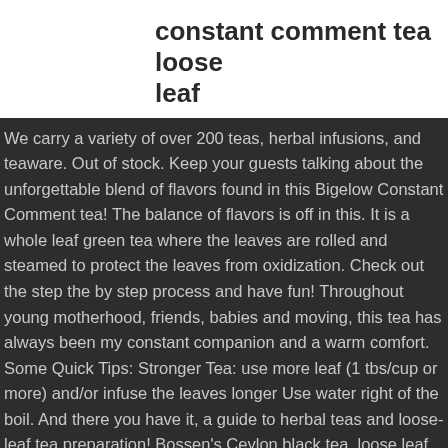constant comment tea loose leaf
We carry a variety of over 200 teas, herbal infusions, and teaware. Out of stock. Keep your guests talking about the unforgettable blend of flavors found in this Bigelow Constant Comment tea! The balance of flavors is off in this. It is a whole leaf green tea where the leaves are rolled and steamed to protect the leaves from oxidization. Check out the step the by step process and have fun! Throughout young motherhood, friends, babies and moving, this tea has always been my constant companion and a warm comfort. Some Quick Tips: Stronger Tea: use more leaf (1 tbs/cup or more) and/or infuse the leaves longer Use water right of the boil. And there you have it, a guide to herbal teas and loose-leaf tea preparation! Bossen's Ceylon black tea, loose leaf makes a classic milk tea, just add our non-dairy creamer and sweetener! About Constant Comment® "Constant Comment®" tea was created by Ruth Campbell Bigelow in 1945. This helps give the Sencha tea its